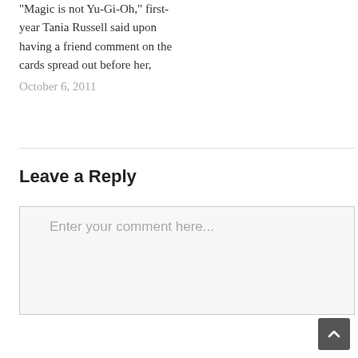"Magic is not Yu-Gi-Oh," first-year Tania Russell said upon having a friend comment on the cards spread out before her,
October 6, 2011
Leave a Reply
Enter your comment here...